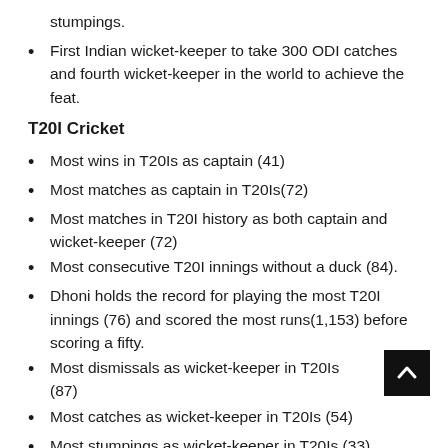stumpings.
First Indian wicket-keeper to take 300 ODI catches and fourth wicket-keeper in the world to achieve the feat.
T20I Cricket
Most wins in T20Is as captain (41)
Most matches as captain in T20Is(72)
Most matches in T20I history as both captain and wicket-keeper (72)
Most consecutive T20I innings without a duck (84).
Dhoni holds the record for playing the most T20I innings (76) and scored the most runs(1,153) before scoring a fifty.
Most dismissals as wicket-keeper in T20Is (87)
Most catches as wicket-keeper in T20Is (54)
Most stumpings as wicket-keeper in T20Is (33)